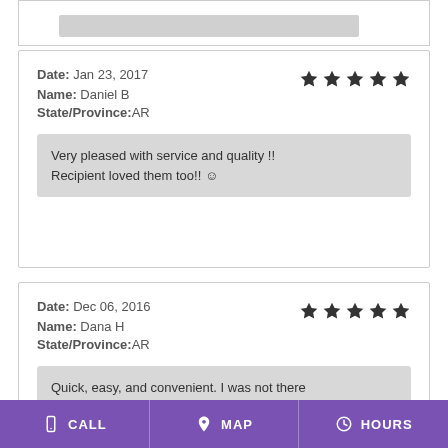Date: Jan 23, 2017
Name: Daniel B
State/Province:AR
★★★★★
Very pleased with service and quality !! Recipient loved them too!! ☺
Date: Dec 06, 2016
Name: Dana H
State/Province:AR
★★★★★
Quick, easy, and convenient. I was not there
CALL   MAP   HOURS